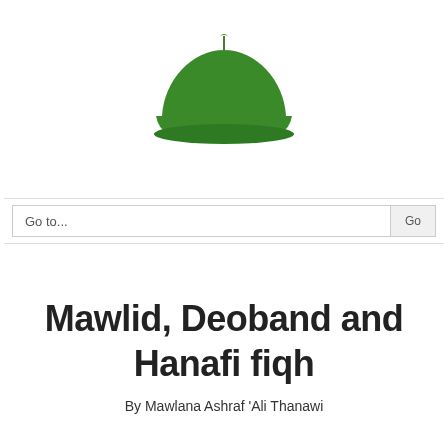[Figure (logo): Green mosque dome icon with crescent on top]
Go to...
Mawlid, Deoband and Hanafi fiqh
By Mawlana Ashraf 'Ali Thanawi